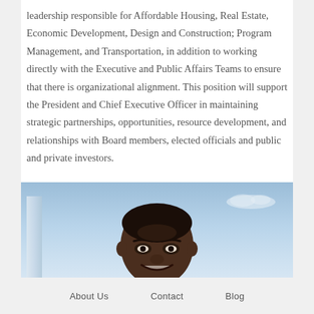leadership responsible for Affordable Housing, Real Estate, Economic Development, Design and Construction; Program Management, and Transportation, in addition to working directly with the Executive and Public Affairs Teams to ensure that there is organizational alignment. This position will support the President and Chief Executive Officer in maintaining strategic partnerships, opportunities, resource development, and relationships with Board members, elected officials and public and private investors.
[Figure (photo): Portrait photo of a man smiling, photographed outdoors against a blue sky background with a building visible on the left side.]
About Us   Contact   Blog